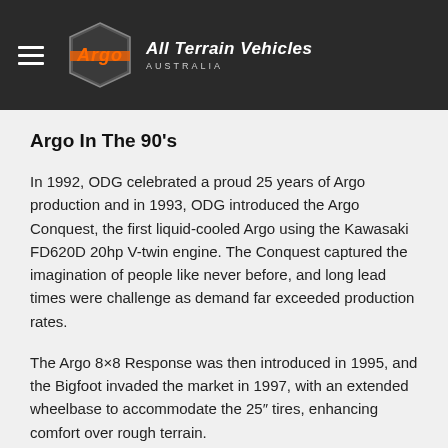[Figure (logo): Argo All Terrain Vehicles Australia logo on dark header bar with hamburger menu icon]
Argo In The 90's
In 1992, ODG celebrated a proud 25 years of Argo production and in 1993, ODG introduced the Argo Conquest, the first liquid-cooled Argo using the Kawasaki FD620D 20hp V-twin engine. The Conquest captured the imagination of people like never before, and long lead times were challenge as demand far exceeded production rates.
The Argo 8×8 Response was then introduced in 1995, and the Bigfoot invaded the market in 1997, with an extended wheelbase to accommodate the 25″ tires, enhancing comfort over rough terrain.